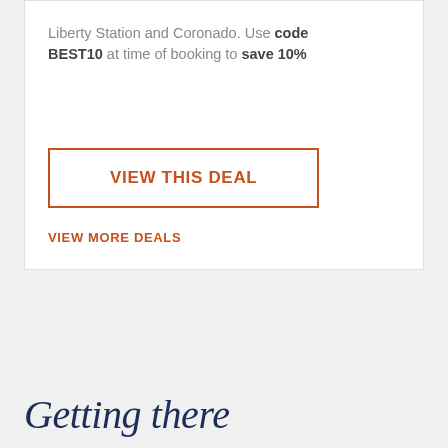Liberty Station and Coronado. Use code BEST10 at time of booking to save 10%
VIEW THIS DEAL
VIEW MORE DEALS
Getting there